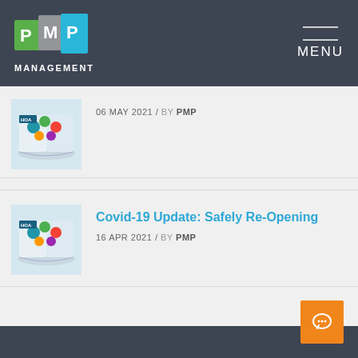[Figure (logo): PMP Management logo with colored P, M, P letters and MANAGEMENT text below]
MENU
[Figure (photo): HOA magazine/book thumbnail with colorful bubbles]
06 MAY 2021 / BY PMP
[Figure (photo): HOA magazine/book thumbnail with colorful bubbles]
Covid-19 Update: Safely Re-Opening
16 APR 2021 / BY PMP